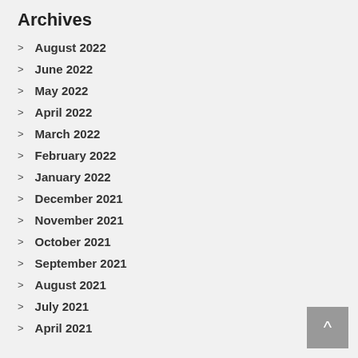Archives
August 2022
June 2022
May 2022
April 2022
March 2022
February 2022
January 2022
December 2021
November 2021
October 2021
September 2021
August 2021
July 2021
April 2021